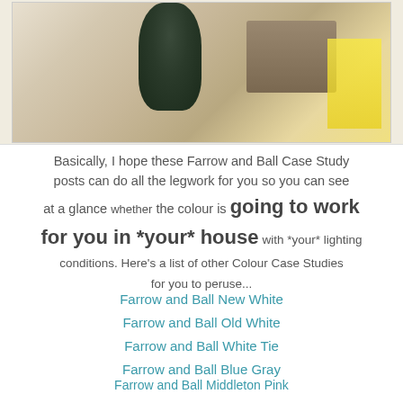[Figure (photo): Partial photo of a room interior with a dark vase/object and stacked items on a shelf, warm tones]
Basically, I hope these Farrow and Ball Case Study posts can do all the legwork for you so you can see at a glance whether the colour is going to work for you in *your* house with *your* lighting conditions. Here's a list of other Colour Case Studies for you to peruse...
Farrow and Ball New White
Farrow and Ball Old White
Farrow and Ball White Tie
Farrow and Ball Blue Gray
Farrow and Ball Middleton Pink
Farrow and Ball Down Pipe
Farrow and Ball Pigeon